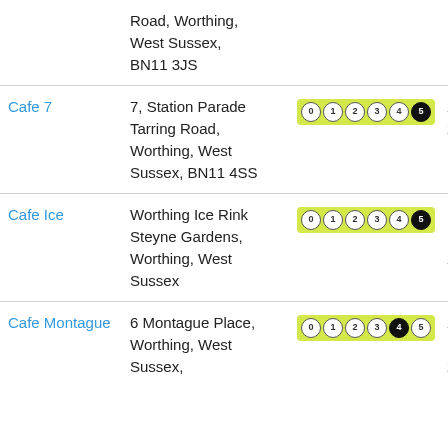| Name | Address | Rating | Date |
| --- | --- | --- | --- |
|  | Road, Worthing, West Sussex, BN11 3JS |  |  |
| Cafe 7 | 7, Station Parade Tarring Road, Worthing, West Sussex, BN11 4SS | 5 | 22nd June, 2022 |
| Cafe Ice | Worthing Ice Rink Steyne Gardens, Worthing, West Sussex | 5 | 17th November, 2021 |
| Cafe Montague | 6 Montague Place, Worthing, West Sussex, | 4 | 29th November, 2021 |